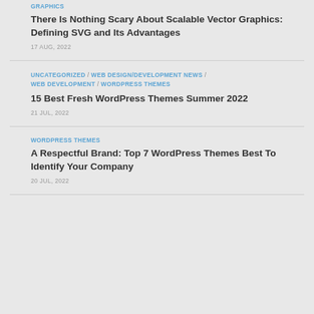GRAPHICS
There Is Nothing Scary About Scalable Vector Graphics: Defining SVG and Its Advantages
17 AUG, 2022
UNCATEGORIZED / WEB DESIGN/DEVELOPMENT NEWS / WEB DEVELOPMENT / WORDPRESS THEMES
15 Best Fresh WordPress Themes Summer 2022
21 JUL, 2022
WORDPRESS THEMES
A Respectful Brand: Top 7 WordPress Themes Best To Identify Your Company
20 JUL, 2022